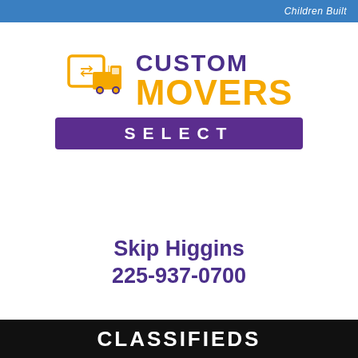Children Built
[Figure (logo): Custom Movers Select logo with a moving truck icon and arrow, gold and purple color scheme. Logo shows a box with arrows icon beside a truck, with CUSTOM in purple, MOVERS in gold, and SELECT on a purple banner.]
Skip Higgins
225-937-0700
CLASSIFIEDS